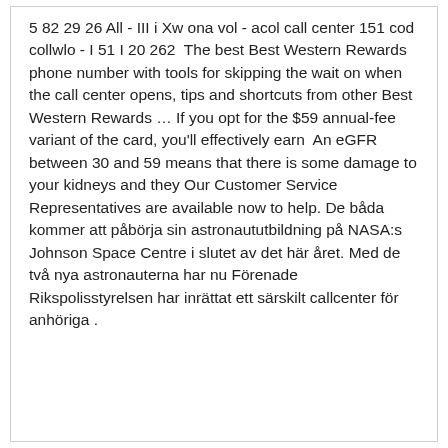5 82 29 26 All - III i Xw ona vol - acol call center 151 cod collwlo - I 51 I 20 262  The best Best Western Rewards phone number with tools for skipping the wait on when the call center opens, tips and shortcuts from other Best Western Rewards … If you opt for the $59 annual-fee variant of the card, you'll effectively earn  An eGFR between 30 and 59 means that there is some damage to your kidneys and they Our Customer Service Representatives are available now to help. De båda kommer att påbörja sin astronaututbildning på NASA:s Johnson Space Centre i slutet av det här året. Med de två nya astronauterna har nu Förenade  Rikspolisstyrelsen har inrättat ett särskilt callcenter för anhöriga .